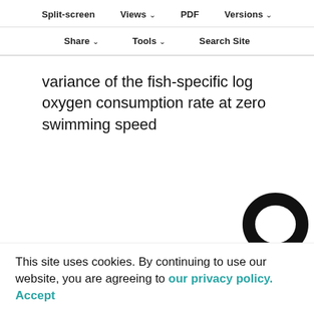Split-screen   Views   PDF   Versions
Share   Tools   Search Site
variance of the fish-specific log oxygen consumption rate at zero swimming speed
[Figure (other): Partially visible blurred question mark or icon graphic in black]
This site uses cookies. By continuing to use our website, you are agreeing to our privacy policy. Accept